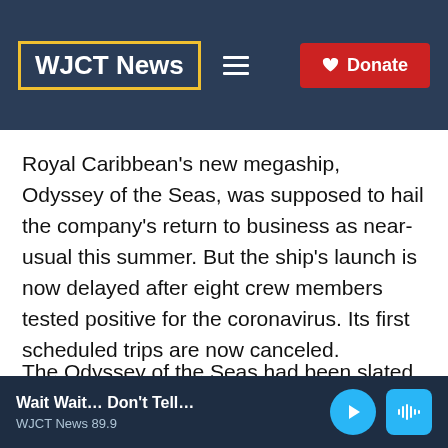WJCT News
Royal Caribbean's new megaship, Odyssey of the Seas, was supposed to hail the company's return to business as near-usual this summer. But the ship's launch is now delayed after eight crew members tested positive for the coronavirus. Its first scheduled trips are now canceled.
The Odyssey of the Seas had been slated to
Wait Wait... Don't Tell... WJCT News 89.9